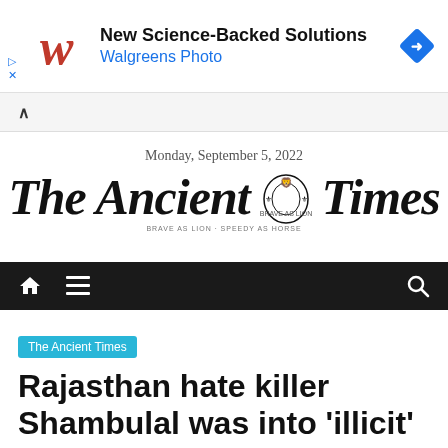[Figure (screenshot): Walgreens advertisement banner with red W logo, text 'New Science-Backed Solutions / Walgreens Photo', and a blue diamond navigation icon on the right]
[Figure (screenshot): Collapse/chevron UI bar in light gray]
Monday, September 5, 2022
The Ancient Times
[Figure (screenshot): Black navigation bar with home icon, hamburger menu icon, and search icon]
The Ancient Times
Rajasthan hate killer Shambulal was into 'illicit'